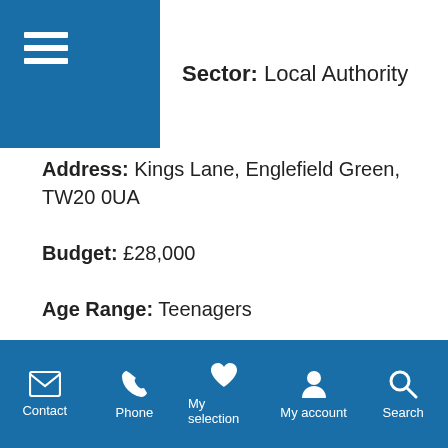Sector: Local Authority
Address: Kings Lane, Englefield Green, TW20 0UA
Budget: £28,000
Age Range: Teenagers
To view the full case study please click here.
Contact | Phone | My selection | My account | Search